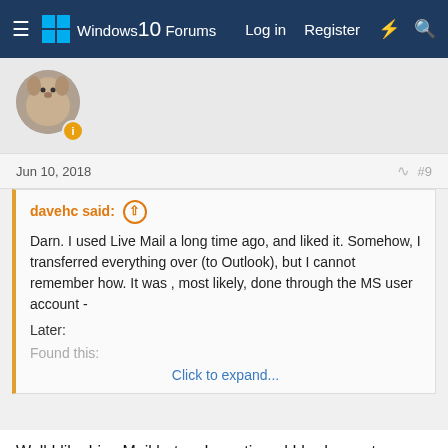Windows 10 Forums — Log in | Register
Jun 10, 2018  #9
davehc said: ↑

Darn. I used Live Mail a long time ago, and liked it. Somehow, I transferred everything over (to Outlook), but I cannot remember how. It was , most likely, done through the MS user account -

Later:

Found this:

Click to expand...
Well I like Live Mail but as I mentioned I had a nasty experience with Windows 10 update wiping me off my laptop and have had to to reconstruct Live Mail with some difficulty, and suspect that at some future point Microsoft (who aren't concerned with current users of Live Mail) might simply